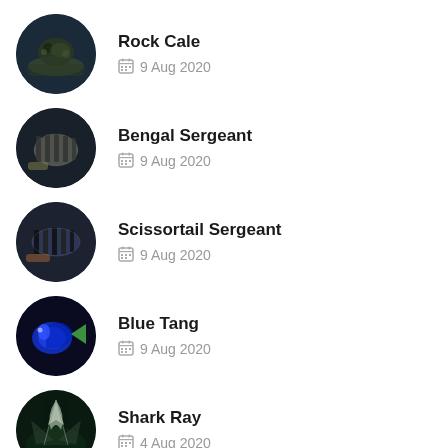Rock Cale — 9 Aug 2020
Bengal Sergeant — 9 Aug 2020
Scissortail Sergeant — 9 Aug 2020
Blue Tang — 9 Aug 2020
Shark Ray — 4 Aug 2020